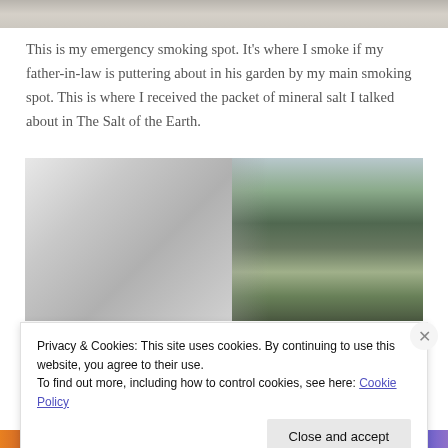[Figure (photo): Top partial image showing stone or concrete texture, gray tones]
This is my emergency smoking spot. It's where I smoke if my father-in-law is puttering about in his garden by my main smoking spot. This is where I received the packet of mineral salt I talked about in The Salt of the Earth.
[Figure (photo): Split image: left side shows close-up of white/gray rough stone wall texture; right side shows outdoor scene with trees, mountains and buildings in background]
Privacy & Cookies: This site uses cookies. By continuing to use this website, you agree to their use.
To find out more, including how to control cookies, see here: Cookie Policy
Close and accept